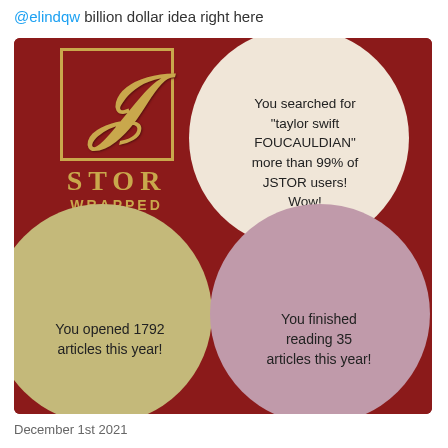@elindqw billion dollar idea right here
[Figure (infographic): JSTOR Wrapped infographic: a 2x2 grid with dark red background. Top-left shows JSTOR logo with ornate J in gold border, STOR text, and WRAPPED text. Top-right has a cream circle with text 'You searched for "taylor swift FOUCAULDIAN" more than 99% of JSTOR users! Wow!'. Bottom-left has an olive/khaki circle with text 'You opened 1792 articles this year!'. Bottom-right has a mauve/dusty pink circle with text 'You finished reading 35 articles this year!'.]
December 1st 2021